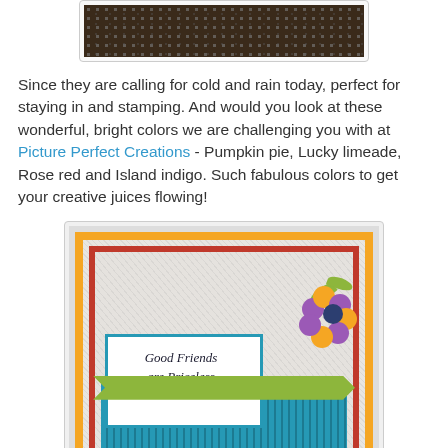[Figure (photo): A dark brown background with a repeating dot/circle pattern, shown in a bordered box at the top of the page.]
Since they are calling for cold and rain today, perfect for staying in and stamping. And would you look at these wonderful, bright colors we are challenging you with at Picture Perfect Creations - Pumpkin pie, Lucky limeade, Rose red and Island indigo. Such fabulous colors to get your creative juices flowing!
[Figure (photo): A handmade greeting card featuring an embossed white background with orange and rose red borders, a teal striped lower section, a blue-framed white panel with cursive text 'Good Friends are Priceless', a green banner, and a purple and orange flower embellishment with green leaves in the upper right corner.]